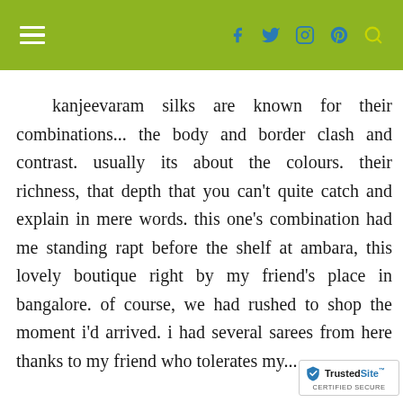≡   f  🐦  🔲  Pinterest  🔍
kanjeevaram silks are known for their combinations... the body and border clash and contrast. usually its about the colours. their richness, that depth that you can't quite catch and explain in mere words. this one's combination had me standing rapt before the shelf at ambara, this lovely boutique right by my friend's place in bangalore. of course, we had rushed to shop the moment i'd arrived. i had several sarees from here thanks to my friend who tolerates my...